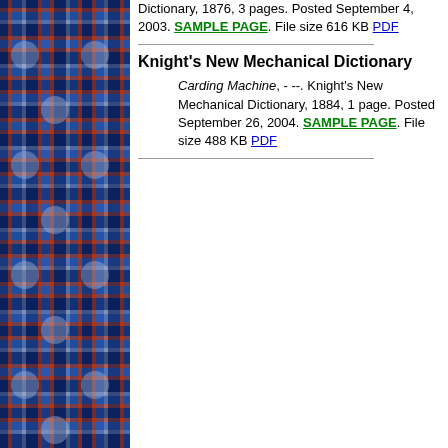[Figure (illustration): Tartan/plaid pattern sidebar on the left side of the page, featuring blue, red, white, and dark blue woven pattern]
Mechanical Dictionary, 1876, 3 pages. Posted September 4, 2003. SAMPLE PAGE. File size 616 KB PDF
Knight's New Mechanical Dictionary
Carding Machine, - --. Knight's New Mechanical Dictionary, 1884, 1 page. Posted September 26, 2004. SAMPLE PAGE. File size 488 KB PDF